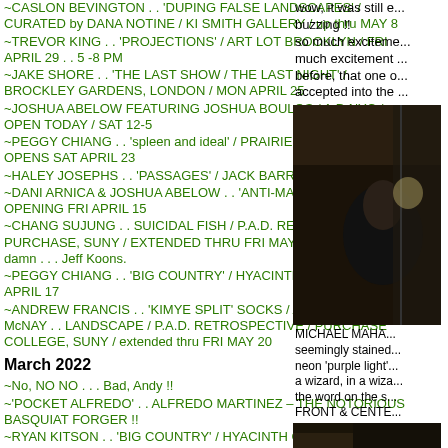~CASLON BEVINGTON . . 'DUPING FALSE LANDSCAPES' / CURATED by DANA NOTINE / KI SMITH GALLERY / up thru MAY 8
~TREVOR KING . . 'PROJECTIONS' / ART LOT BROOKLYN / FRI APRIL 29 . . 5 -8 PM
~JAKE SHORE . . 'THE LAST SHOW / THE LAST NIGHT' / BROCKLEY GARDENS, LONDON / MON APRIL 25
~JOSHUA ABELOW FEATURING JOSHUA BOULOS / A.D.NYC / OPEN TODAY / SAT 12-5
~PEGGY CHIANG . . 'spleen and ideal' / PRAIRIE, CHICAGO / OPENS SAT APRIL 23
~HALEY JOSEPHS . . 'PASSAGES' / JACK BARRETT / . . thru MAY 7
~DANI ARNICA & JOSHUA ABELOW . . 'ANTI-MAGIC' / Et al. / S.F. / OPENING FRI APRIL 15
~CHANG SUJUNG . . SUICIDAL FISH / P.A.D. RETROSPECTIVE at PURCHASE, SUNY / EXTENDED THRU FRI MAY 20 / with a side of: damn . . . Jeff Koons.
~PEGGY CHIANG . . 'BIG COUNTRY' / HYACINTH / up thru SUN APRIL 17
~ANDREW FRANCIS . . 'KIMYE SPLIT' SOCKS / A. PFEIFFER McNAY . . LANDSCAPE / P.A.D. RETROSPECTIVE / PURCHASE COLLEGE, SUNY / extended thru FRI MAY 20
March 2022
~No, NO NO . . . Bad, Andy !!
~'POCKET ALFREDO' . . ALFREDO MARTINEZ – THE NOTORIOUS BASQUIAT FORGER !!
~RYAN KITSON . . 'BIG COUNTRY' / HYACINTH GALLERY
~LUKE MURPHY . . . Q & A / SMoCA / FRI MARCH 18 / To-NIGHT !!
~TOM FORKIN . . 'THE ELECTRICIAN' / SOMEDAY / up thru MARCH 19
~NOAH BECKER INTERVIEWS . . . ANNA DELVEY !!
~'BIG COUNTRY' . . GROUP SHOW / HYACINTH / OPENS . . . FRI MARCH 11
~BEN DUAX . . 'I on air an Fheur' / HYACINTH / last weekend
wow, it was still e... buzzing !! so much exciteme... much excitement ... before, that one o... accepted into the ...
[Figure (photo): Dark interior photo of a figure, dimly lit space with industrial elements]
MICHAEL MAHA... seemingly stained... neon 'purple light'... a wizard, in a wiza... the word on the s... FRONT & CENTE...
[Figure (photo): Dark bottom image, partial view of interior]